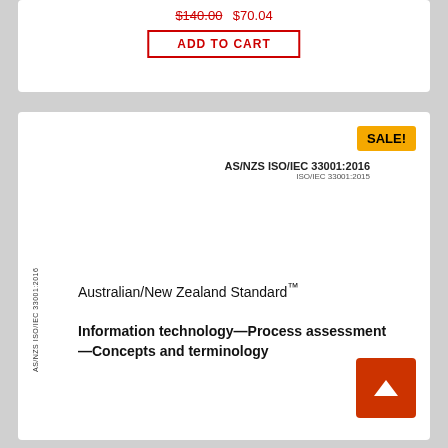$140.00  $70.04
ADD TO CART
SALE!
AS/NZS ISO/IEC 33001:2016
ISO/IEC 33001:2015
AS/NZS ISO/IEC 33001:2016
Australian/New Zealand Standard™
Information technology—Process assessment—Concepts and terminology
[Figure (other): Back to top button arrow]